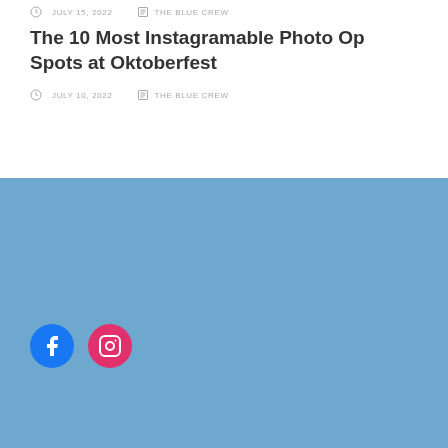JULY 15, 2022   THE BLUE CREW
The 10 Most Instagramable Photo Op Spots at Oktoberfest
JULY 10, 2022   THE BLUE CREW
[Figure (logo): Facebook and Instagram social media icon circles in blue section footer]